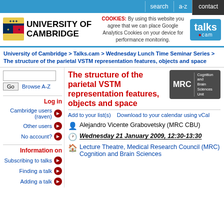search | a-z | contact
[Figure (logo): University of Cambridge logo with shield crest and text]
COOKIES: By using this website you agree that we can place Google Analytics Cookies on your device for performance monitoring.
[Figure (logo): talks.cam logo]
University of Cambridge > Talks.cam > Wednesday Lunch Time Seminar Series > The structure of the parietal VSTM representation features, objects and space
The structure of the parietal VSTM representation features, objects and space
[Figure (logo): MRC Cognition and Brain Sciences Unit logo]
Add to your list(s)    Download to your calendar using vCal
Alejandro Vicente Grabovetsky (MRC CBU)
Wednesday 21 January 2009, 12:30-13:30
Lecture Theatre, Medical Research Council (MRC) Cognition and Brain Sciences
Log in
Cambridge users (raven)
Other users
No account?
Information on
Subscribing to talks
Finding a talk
Adding a talk